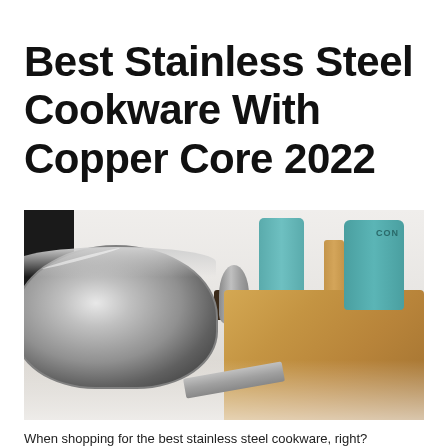Best Stainless Steel Cookware With Copper Core 2022
[Figure (photo): A shiny stainless steel frying pan with two handles sitting on a white countertop. In the background are teal kitchen canisters, a wooden cutting board, and other kitchen items.]
When shopping for the best stainless steel cookware, right?